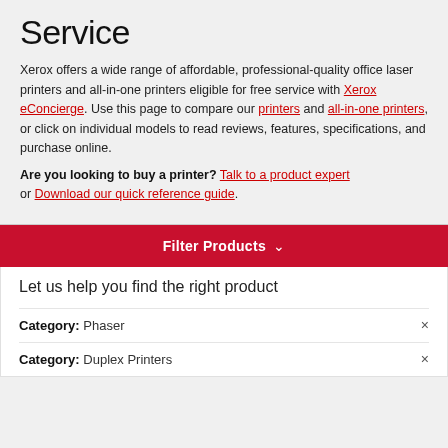Service
Xerox offers a wide range of affordable, professional-quality office laser printers and all-in-one printers eligible for free service with Xerox eConcierge. Use this page to compare our printers and all-in-one printers, or click on individual models to read reviews, features, specifications, and purchase online.
Are you looking to buy a printer? Talk to a product expert or Download our quick reference guide.
Filter Products
Let us help you find the right product
Category: Phaser
Category: Duplex Printers